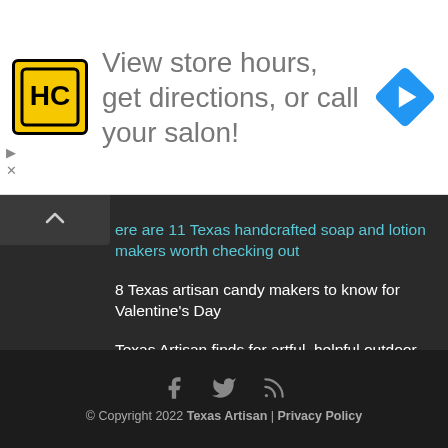[Figure (logo): HC yellow logo with black border and HC letters]
View store hours, get directions, or call your salon!
[Figure (other): Blue diamond navigation arrow icon]
ere are 11 Texas handcrafted soap and lotion makers worth checking out
8 Texas artisan candy makers to know for Valentine's Day
Texas Artisan finds for artful, helpful outdoor living
Take time for babka. Or tamales. Or both!
© Copyright 2022 Texas Artisan | Privacy Policy